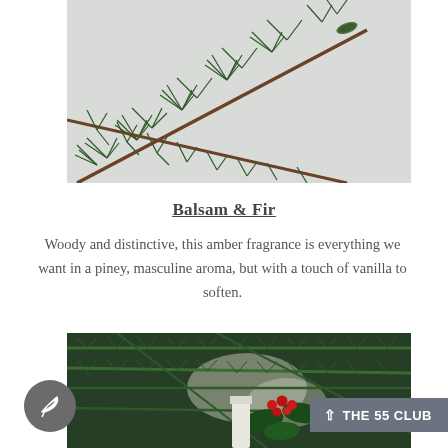[Figure (photo): Close-up photograph of dark green fir/pine branches with needles on a white background, with a small green pinecone visible]
Balsam & Fir
Woody and distinctive, this amber fragrance is everything we want in a piney, masculine aroma, but with a touch of vanilla to soften.
[Figure (photo): Close-up photograph of dark green fir/pine branches with red berries and holly leaves, with a white candle visible, on a light background]